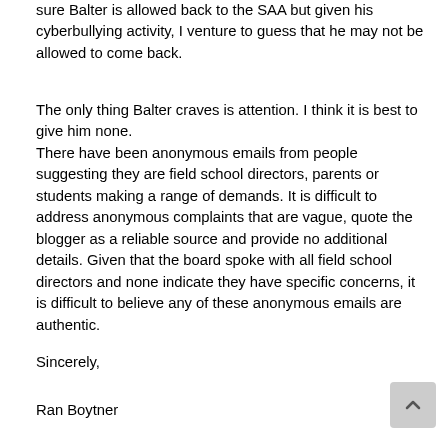sure Balter is allowed back to the SAA but given his cyberbullying activity, I venture to guess that he may not be allowed to come back.
The only thing Balter craves is attention. I think it is best to give him none.
There have been anonymous emails from people suggesting they are field school directors, parents or students making a range of demands. It is difficult to address anonymous complaints that are vague, quote the blogger as a reliable source and provide no additional details. Given that the board spoke with all field school directors and none indicate they have specific concerns, it is difficult to believe any of these anonymous emails are authentic.
Sincerely,
Ran Boytner